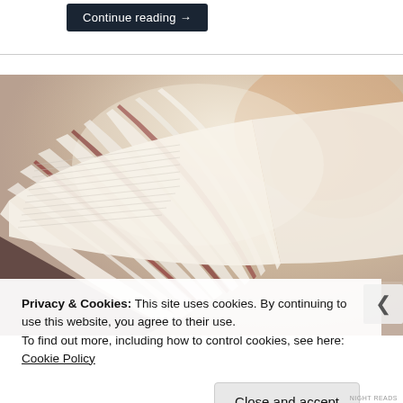Continue reading →
[Figure (photo): Close-up photo of an open book with pages fanned out, warm blurred background]
Privacy & Cookies: This site uses cookies. By continuing to use this website, you agree to their use.
To find out more, including how to control cookies, see here: Cookie Policy
Close and accept